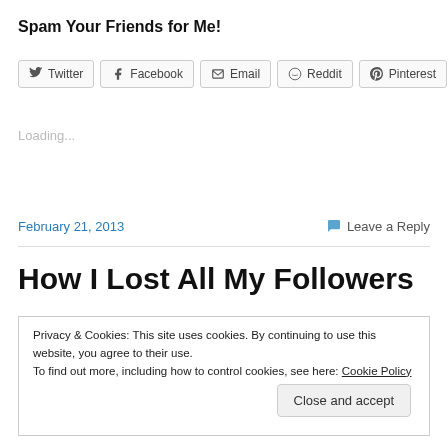Spam Your Friends for Me!
[Figure (infographic): Row of social share buttons: Twitter, Facebook, Email, Reddit, Pinterest]
Loading...
February 21, 2013
💬 Leave a Reply
How I Lost All My Followers
Privacy & Cookies: This site uses cookies. By continuing to use this website, you agree to their use. To find out more, including how to control cookies, see here: Cookie Policy
Close and accept